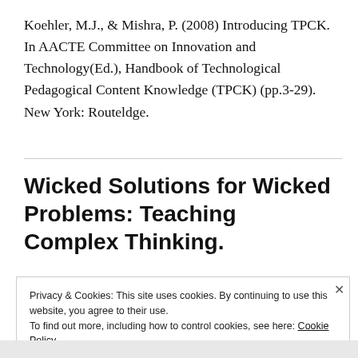Koehler, M.J., & Mishra, P. (2008) Introducing TPCK. In AACTE Committee on Innovation and Technology(Ed.), Handbook of Technological Pedagogical Content Knowledge (TPCK) (pp.3-29). New York: Routeldge.
Wicked Solutions for Wicked Problems: Teaching Complex Thinking.
Privacy & Cookies: This site uses cookies. By continuing to use this website, you agree to their use.
To find out more, including how to control cookies, see here: Cookie Policy
Close and accept